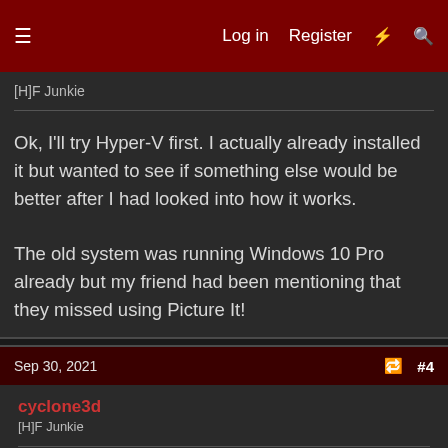≡  Log in  Register  ⚡  🔍
[H]F Junkie
Ok, I'll try Hyper-V first. I actually already installed it but wanted to see if something else would be better after I had looked into how it works.

The old system was running Windows 10 Pro already but my friend had been mentioning that they missed using Picture It!
Sep 30, 2021  #4
cyclone3d
[H]F Junkie
Well, the current version of Hyper-V kinda really sucks for XP. Reasons are:
1. Once you log out of XP, the password field on the login screen no longer works. Must restart VM to get back in.